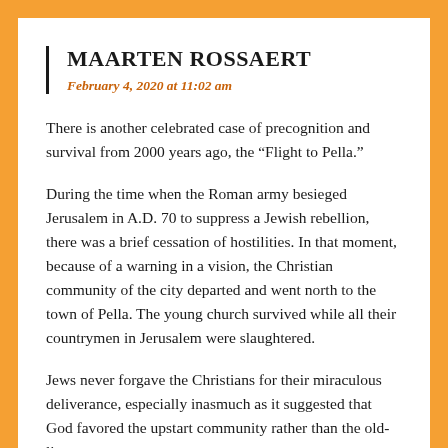MAARTEN ROSSAERT
February 4, 2020 at 11:02 am
There is another celebrated case of precognition and survival from 2000 years ago, the “Flight to Pella.”
During the time when the Roman army besieged Jerusalem in A.D. 70 to suppress a Jewish rebellion, there was a brief cessation of hostilities. In that moment, because of a warning in a vision, the Christian community of the city departed and went north to the town of Pella. The young church survived while all their countrymen in Jerusalem were slaughtered.
Jews never forgave the Christians for their miraculous deliverance, especially inasmuch as it suggested that God favored the upstart community rather than the old-line